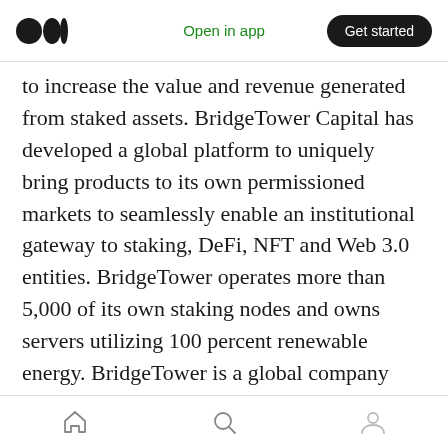Medium app header — Open in app | Get started
to increase the value and revenue generated from staked assets. BridgeTower Capital has developed a global platform to uniquely bring products to its own permissioned markets to seamlessly enable an institutional gateway to staking, DeFi, NFT and Web 3.0 entities. BridgeTower operates more than 5,000 of its own staking nodes and owns servers utilizing 100 percent renewable energy. BridgeTower is a global company based in Singapore with operating entities in Switzerland and the United States allowing it to compliantly address many of the most important jurisdictions in the global
Home | Search | Profile